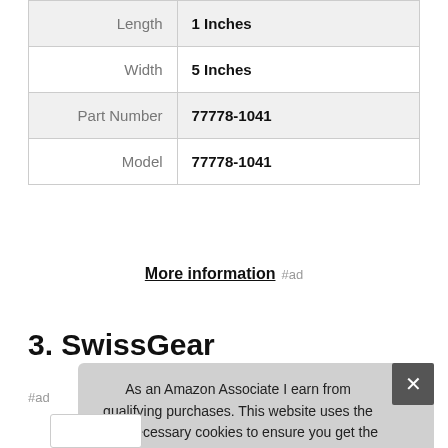| Attribute | Value |
| --- | --- |
| Length | 1 Inches |
| Width | 5 Inches |
| Part Number | 77778-1041 |
| Model | 77778-1041 |
More information #ad
3. SwissGear
#ad
As an Amazon Associate I earn from qualifying purchases. This website uses the only necessary cookies to ensure you get the best experience on our website. More information